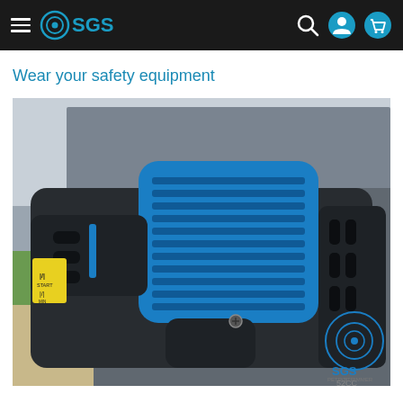SGS - Navigation bar with hamburger menu, SGS logo, search, account and cart icons
Wear your safety equipment
[Figure (photo): Close-up photo of a blue and black SGS 52CC petrol strimmer engine, showing the blue engine cover with ventilation slats, black handle and body parts, a yellow choke/start indicator label, and the SGS brand logo on the engine casing. Background shows a building wall and paved/grassy area.]